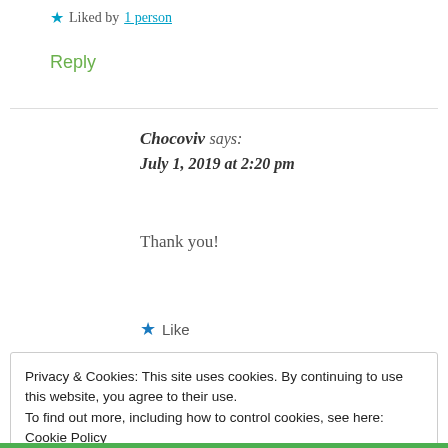★ Liked by 1 person
Reply
Chocoviv says: July 1, 2019 at 2:20 pm
Thank you!
★ Like
Privacy & Cookies: This site uses cookies. By continuing to use this website, you agree to their use.
To find out more, including how to control cookies, see here: Cookie Policy
Close and accept